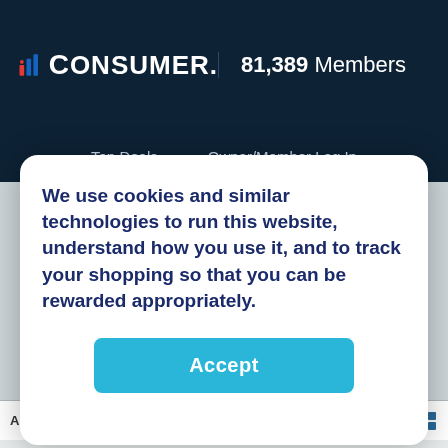iConsumer. 81,389 Members
Top Deals   Owner/Member Log In
We use cookies and similar technologies to run this website, understand how you use it, and to track your shopping so that you can be rewarded appropriately.
Accept
Phones & Calling Plans
A-Z: All